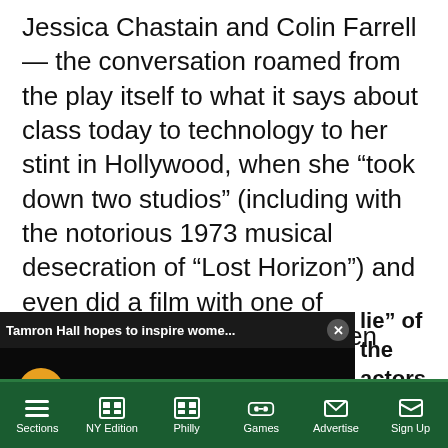Jessica Chastain and Colin Farrell — the conversation roamed from the play itself to what it says about class today to technology to her stint in Hollywood, when she “took down two studios” (including with the notorious 1973 musical desecration of “Lost Horizon”) and even did a film with one of America’s most famous screen badasses.
[Figure (screenshot): A video player overlay with dark background showing 'Tamron Hall hopes to inspire wome...' in the title bar with a close (X) button, an orange mute button in the lower left, and a small teal dot near center.]
lie” of the actors at go on longer than e like? hts, I do the framing. ming. And the actors, o some rehearsal, I
Sections  NY Edition  Philly  Games  Advertise  Sign Up